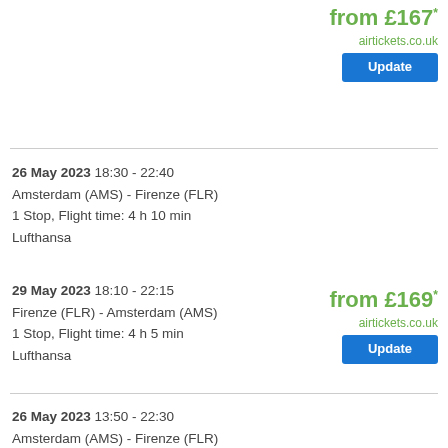from £167*
airtickets.co.uk
Update
26 May 2023 18:30 - 22:40
Amsterdam (AMS) - Firenze (FLR)
1 Stop, Flight time: 4 h 10 min
Lufthansa
29 May 2023 18:10 - 22:15
Firenze (FLR) - Amsterdam (AMS)
1 Stop, Flight time: 4 h 5 min
Lufthansa
from £169*
airtickets.co.uk
Update
26 May 2023 13:50 - 22:30
Amsterdam (AMS) - Firenze (FLR)
1 Stop, Flight time: 8 h 40 min
Air France